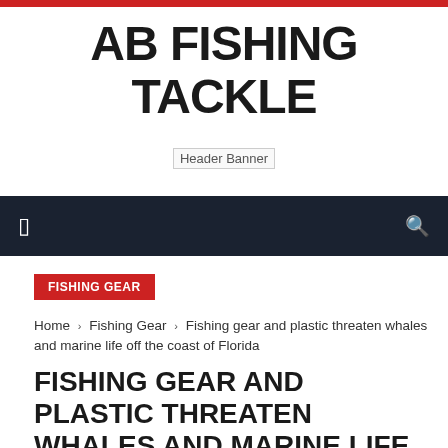AB FISHING TACKLE
[Figure (other): Header Banner placeholder image]
FISHING GEAR
Home › Fishing Gear › Fishing gear and plastic threaten whales and marine life off the coast of Florida
FISHING GEAR AND PLASTIC THREATEN WHALES AND MARINE LIFE OFF THE COAST OF FLORIDA